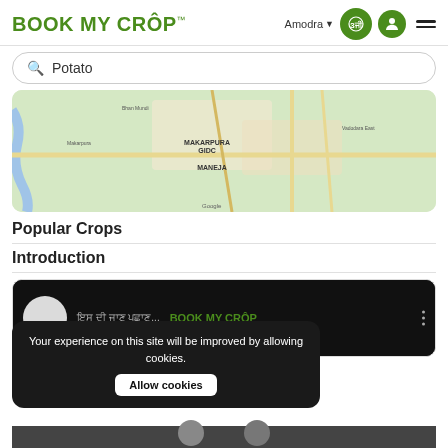BOOK MY CROP
Amodra
[Figure (map): Google Maps view showing Makarpura GIDC and Maneja area with roads and landmarks]
Popular Crops
Introduction
[Figure (screenshot): Video thumbnail with Hindi text and BOOK MY CROP branding]
Your experience on this site will be improved by allowing cookies.
Allow cookies